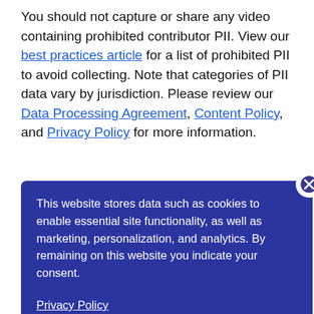You should not capture or share any video containing prohibited contributor PII. View our best practices article for a list of prohibited PII to avoid collecting. Note that categories of PII data vary by jurisdiction. Please review our Data Processing Agreement, Content Policy, and Privacy Policy for more information.
[Figure (screenshot): Cookie consent popup overlay on a dark blue background with close button (X), text about website data storage and cookies for marketing/analytics, and a Privacy Policy link at bottom.]
ns and for
ng tested?
which tell d by al consent